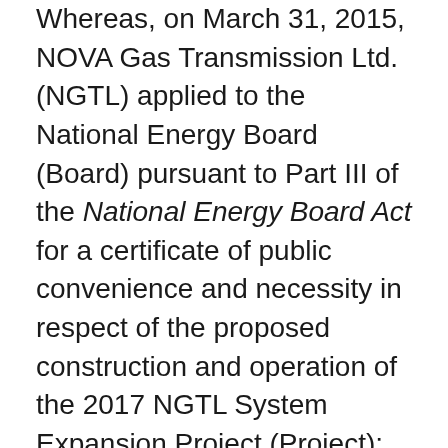Whereas, on March 31, 2015, NOVA Gas Transmission Ltd. (NGTL) applied to the National Energy Board (Board) pursuant to Part III of the National Energy Board Act for a certificate of public convenience and necessity in respect of the proposed construction and operation of the 2017 NGTL System Expansion Project (Project);
Whereas, on June 1, 2016, having reviewed NGTL's application and conducted an environmental assessment of the Project, the Board submitted its report on the Project entitled NOVA Gas Transmission Ltd. GH-002-2015 (Board's Report) to the